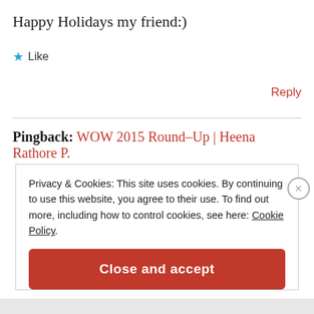Happy Holidays my friend:)
★ Like
Reply
Pingback: WOW 2015 Round–Up | Heena Rathore P.
Privacy & Cookies: This site uses cookies. By continuing to use this website, you agree to their use. To find out more, including how to control cookies, see here: Cookie Policy
Close and accept